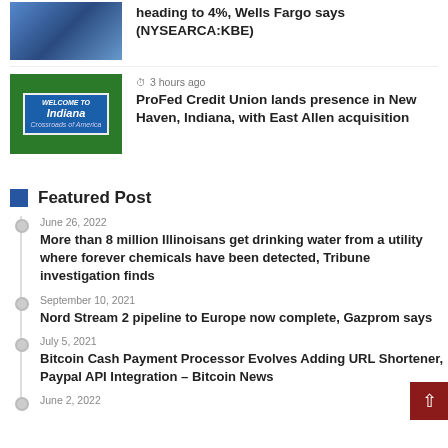[Figure (photo): Building facade with blue glass windows]
heading to 4%, Wells Fargo says (NYSEARCA:KBE)
[Figure (photo): Indiana crossroads of America blue sign in green foliage]
3 hours ago
ProFed Credit Union lands presence in New Haven, Indiana, with East Allen acquisition
Featured Post
June 26, 2022
More than 8 million Illinoisans get drinking water from a utility where forever chemicals have been detected, Tribune investigation finds
September 10, 2021
Nord Stream 2 pipeline to Europe now complete, Gazprom says
July 5, 2021
Bitcoin Cash Payment Processor Evolves Adding URL Shortener, Paypal API Integration – Bitcoin News
June 2, 2022